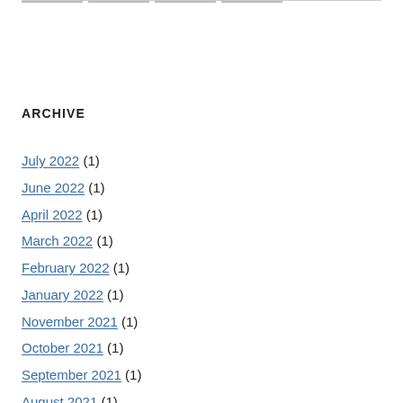ARCHIVE
July 2022 (1)
June 2022 (1)
April 2022 (1)
March 2022 (1)
February 2022 (1)
January 2022 (1)
November 2021 (1)
October 2021 (1)
September 2021 (1)
August 2021 (1)
July 2021 (1)
May 2021 (1)